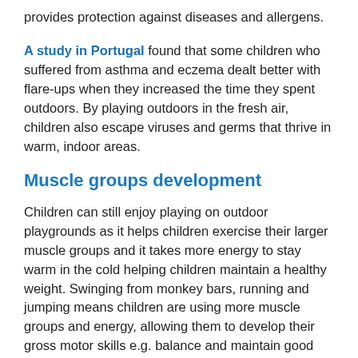provides protection against diseases and allergens.
A study in Portugal found that some children who suffered from asthma and eczema dealt better with flare-ups when they increased the time they spent outdoors. By playing outdoors in the fresh air, children also escape viruses and germs that thrive in warm, indoor areas.
Muscle groups development
Children can still enjoy playing on outdoor playgrounds as it helps children exercise their larger muscle groups and it takes more energy to stay warm in the cold helping children maintain a healthy weight. Swinging from monkey bars, running and jumping means children are using more muscle groups and energy, allowing them to develop their gross motor skills e.g. balance and maintain good health.
The surroundings, temperatures and landscapes look